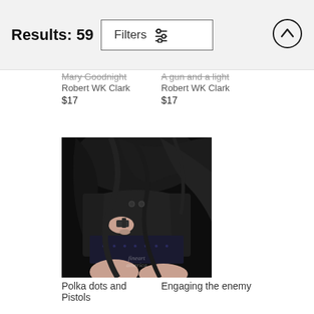Results: 59
Mary Goodnight
Robert WK Clark
$17
A gun and a light
Robert WK Clark
$17
[Figure (photo): Black and white photograph of a female figure from behind, wearing dark clothing. Her hand is holding a small dark object at her waist. Her dark hair falls across her back. A watermark reads 'fineartamerica'.]
Polka dots and Pistols
Engaging the enemy